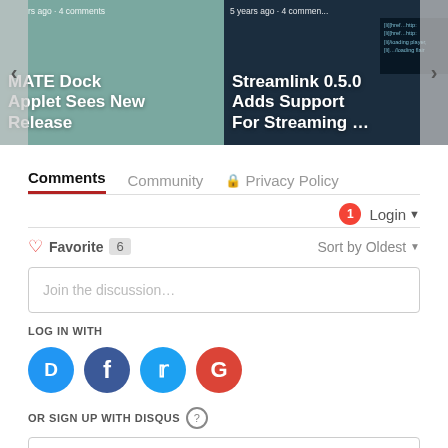[Figure (screenshot): Carousel with two article cards. Left card: 'MATE Dock Applet Sees New Release' with meta 'rs ago • 4 comments'. Right card: 'Streamlink 0.5.0 Adds Support For Streaming ...' with meta '5 years ago • 4 comments'. Navigation arrows on both sides.]
Comments
Community
Privacy Policy
Login
Favorite 6
Sort by Oldest
Join the discussion...
LOG IN WITH
[Figure (logo): Social login icons: Disqus (blue), Facebook (dark blue), Twitter (light blue), Google (red)]
OR SIGN UP WITH DISQUS
Name